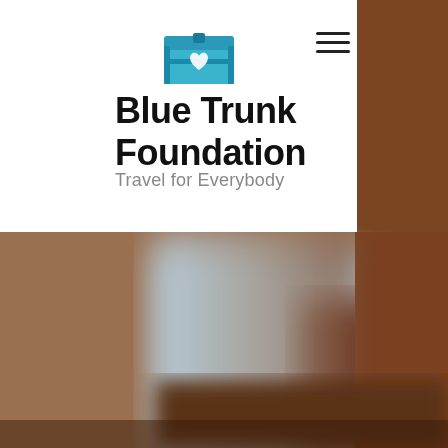[Figure (logo): Blue Trunk Foundation logo: a blue trunk/chest icon with a heart symbol]
[Figure (photo): Blurred background photo showing warm brown tones, likely depicting travel or outdoor scene]
Blue Trunk Foundation
Travel for Everybody